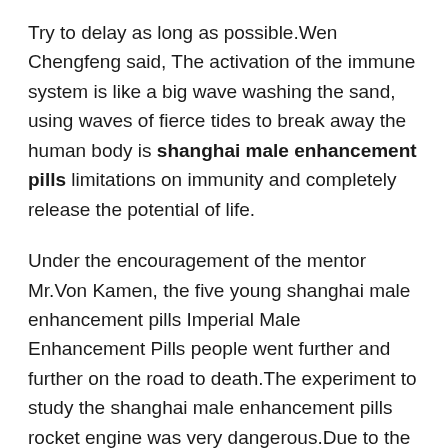Try to delay as long as possible.Wen Chengfeng said, The activation of the immune system is like a big wave washing the sand, using waves of fierce tides to break away the human body is shanghai male enhancement pills limitations on immunity and completely release the potential of life.
Under the encouragement of the mentor Mr.Von Kamen, the five young shanghai male enhancement pills Imperial Male Enhancement Pills people went further and further on the road to death.The experiment to study the shanghai male enhancement pills rocket engine was very dangerous.Due to the poor equipment, various accidents and explosions continued, the school shanghai male enhancement pills List Of Male Enhancement Pills even wanted shanghai male enhancement pills to take them Get out, and the classmates call them the Crazy Club, the Suicide Club.
In the past, people always said that Xingchen Technology was